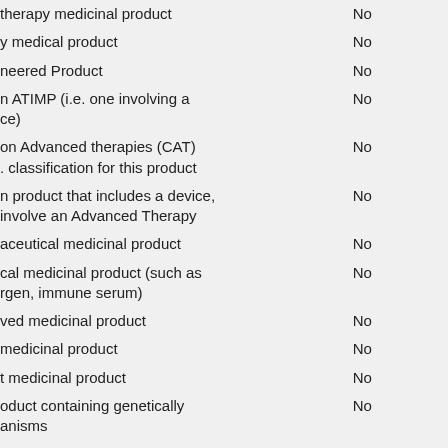| Product Type | Value |
| --- | --- |
| therapy medicinal product | No |
| y medical product | No |
| neered Product | No |
| n ATIMP (i.e. one involving a ce) | No |
| on Advanced therapies (CAT) . classification for this product | No |
| n product that includes a device, involve an Advanced Therapy | No |
| aceutical medicinal product | No |
| cal medicinal product (such as rgen, immune serum) | No |
| ved medicinal product | No |
| medicinal product | No |
| t medicinal product | No |
| oduct containing genetically anisms | No |
| cinal product | No |
| c medicinal product | No |